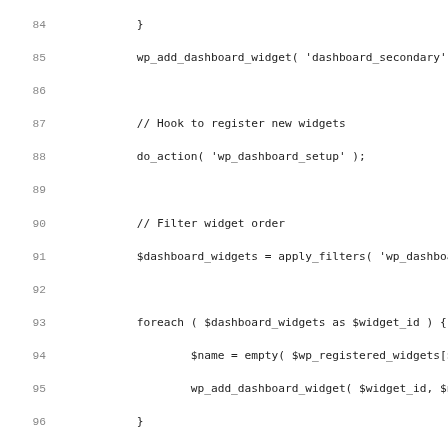Code listing lines 84–115: PHP WordPress dashboard widget registration function